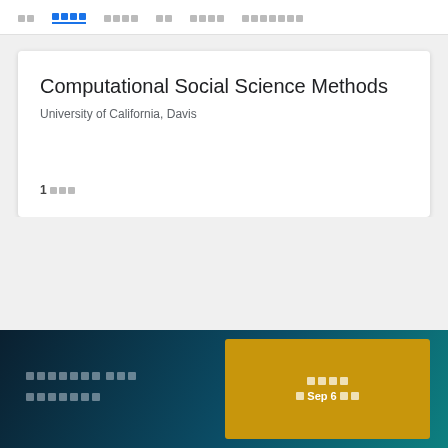□□  □□□□  □□□□  □□  □□□□  □□□□□□□
Computational Social Science Methods
University of California, Davis
1 □□□
□□□□□□ □□□□ □□□□□□□□□□
□□□□ □ Sep 6 □□